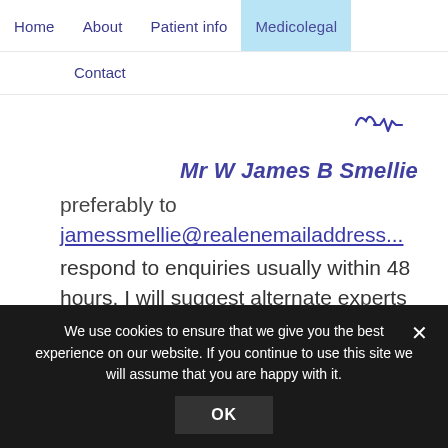Home | About | Patient info | Medicolegal | Contact
Mr W James B Smellie
preferably to jamessmellie@realenemailaddress respond to enquiries usually within 48 hours. I will suggest alternate experts who I know are active if the case lies outside of my field of expertise.
We use cookies to ensure that we give you the best experience on our website. If you continue to use this site we will assume that you are happy with it.